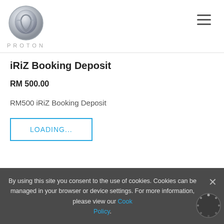[Figure (logo): Proton car brand logo — circular silver badge with stylized tiger/P emblem above the word PROTON in silver lettering]
iRiZ Booking Deposit
RM 500.00
RM500 iRiZ Booking Deposit
LOADING...
By using this site you consent to the use of cookies. Cookies can be managed in your browser or device settings. For more information, please view our Cookie Policy.